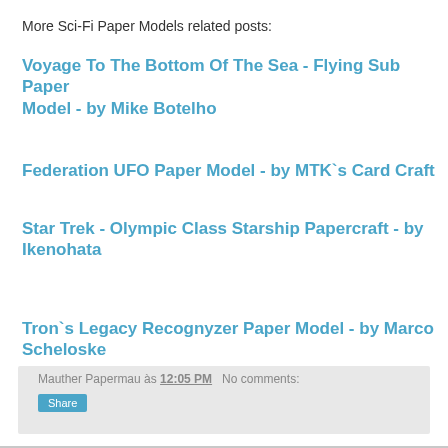More Sci-Fi Paper Models related posts:
Voyage To The Bottom Of The Sea - Flying Sub Paper Model - by Mike Botelho
Federation UFO Paper Model - by MTK`s Card Craft
Star Trek - Olympic Class Starship Papercraft - by Ikenohata
Tron`s Legacy Recognyzer Paper Model - by Marco Scheloske
Mauther Papermau às 12:05 PM   No comments:
Share
Monday, July 28, 2014
The Old Medieval Church Paper Model